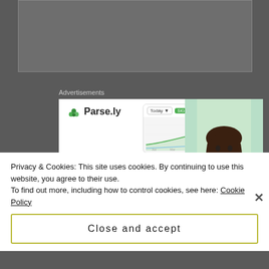[Figure (screenshot): Gray content area placeholder at top of page]
Advertisements
[Figure (screenshot): Parse.ly advertisement banner showing 'Content Analytics Made Easy' with logo, analytics chart screenshot, and woman in green top]
Privacy & Cookies: This site uses cookies. By continuing to use this website, you agree to their use.
To find out more, including how to control cookies, see here: Cookie Policy
Close and accept